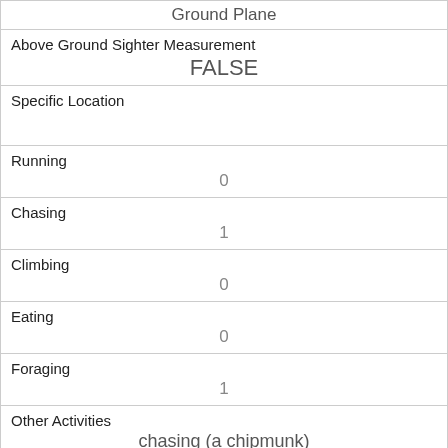| Ground Plane |
| Above Ground Sighter Measurement
FALSE |
| Specific Location
 |
| Running
0 |
| Chasing
1 |
| Climbing
0 |
| Eating
0 |
| Foraging
1 |
| Other Activities
chasing (a chipmunk) |
| Kuks
0 |
| Quaas
0 |